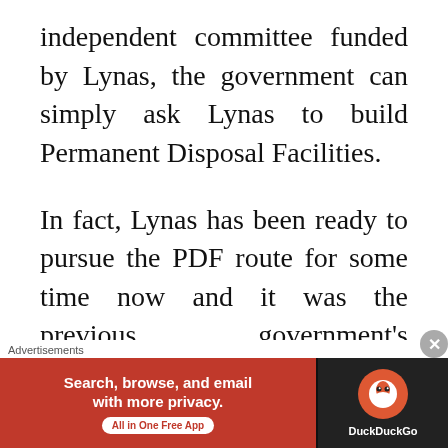independent committee funded by Lynas, the government can simply ask Lynas to build Permanent Disposal Facilities.
In fact, Lynas has been ready to pursue the PDF route for some time now and it was the previous government's insistence on recycling that deterred them from pursuing it. The Executive Committee report even states that Lynas should build PDFs for their residue despite research on their reuse. Lynas
Advertisements
[Figure (other): DuckDuckGo advertisement banner: 'Search, browse, and email with more privacy. All in One Free App' on red background with DuckDuckGo logo on dark background.]